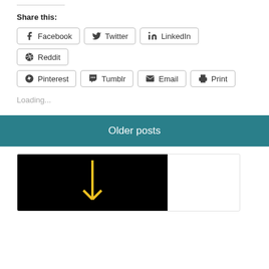Share this:
Facebook
Twitter
LinkedIn
Reddit
Pinterest
Tumblr
Email
Print
Loading...
Older posts
[Figure (photo): Dark image with a yellow vertical line/arrow graphic on black background, partially visible at bottom of page]